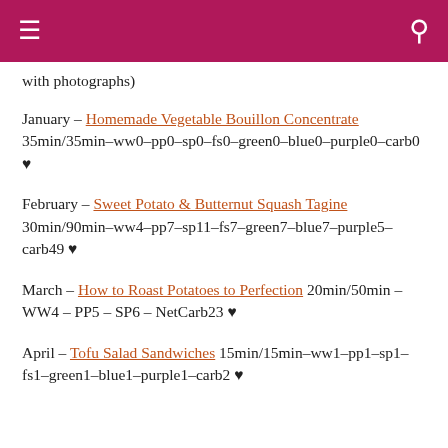≡  [header bar with hamburger and search icons]
with photographs)
January – Homemade Vegetable Bouillon Concentrate 35min/35min–ww0–pp0–sp0–fs0–green0–blue0–purple0–carb0 ♥
February – Sweet Potato & Butternut Squash Tagine 30min/90min–ww4–pp7–sp11–fs7–green7–blue7–purple5–carb49 ♥
March – How to Roast Potatoes to Perfection 20min/50min – WW4 – PP5 – SP6 – NetCarb23 ♥
April – Tofu Salad Sandwiches 15min/15min–ww1–pp1–sp1–fs1–green1–blue1–purple1–carb2 ♥